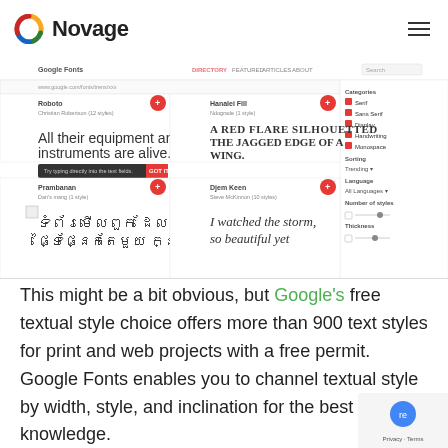Novage
[Figure (screenshot): Screenshot of Google Fonts website showing font previews including Roboto, Hanalei Fill, Prambanan, Djem Keen with sample text in various languages and a sidebar with category filters.]
This might be a bit obvious, but Google's free textual style choice offers more than 900 text styles for print and web projects with a free permit. Google Fonts enables you to channel textual style by width, style, and inclination for the best looking knowledge.